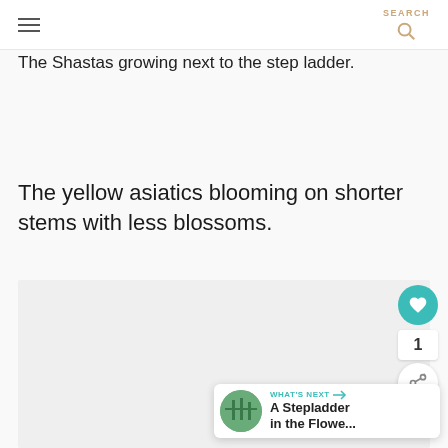SEARCH
The Shastas growing next to the step ladder.
The yellow asiatics blooming on shorter stems with less blossoms.
[Figure (photo): Photo placeholder area showing a garden image]
1
WHAT'S NEXT → A Stepladder in the Flowe...